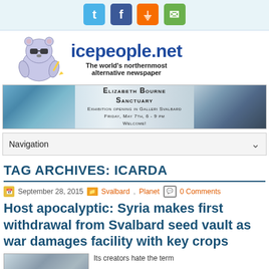[Figure (screenshot): Social media share icons: Twitter (blue), Facebook (dark blue), RSS (orange), Email (green)]
[Figure (logo): icepeople.net logo with polar bear mascot wearing sunglasses. Text: icepeople.net - The world's northernmost alternative newspaper]
[Figure (photo): Advertisement banner for Elizabeth Bourne Sanctuary exhibition opening in Galleri Svalbard, Friday May 7th 6-9pm, Welcome!]
Navigation
TAG ARCHIVES: ICARDA
September 28, 2015   Svalbard, Planet   0 Comments
Host apocalyptic: Syria makes first withdrawal from Svalbard seed vault as war damages facility with key crops
Its creators hate the term